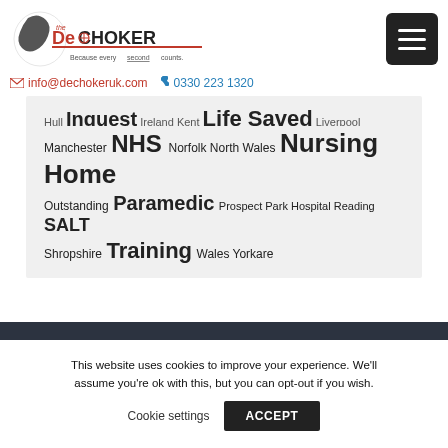[Figure (logo): DeChoker logo with bird/person graphic and tagline 'Because every second counts.']
info@dechokeruk.com  0330 223 1320
Hull Inquest Ireland Kent Life Saved Liverpool Manchester NHS Norfolk North Wales Nursing Home Outstanding Paramedic Prospect Park Hospital Reading SALT Shropshire Training Wales Yorkare
This website uses cookies to improve your experience. We'll assume you're ok with this, but you can opt-out if you wish.
Cookie settings  ACCEPT